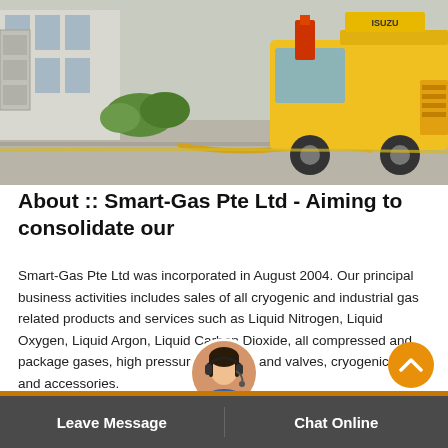[Figure (photo): Outdoor scene showing a yellow delivery/utility truck parked near a building with electrical infrastructure. A yellow hose or cable runs from the truck along the ground. Green bushes and a paved pathway are visible.]
About :: Smart-Gas Pte Ltd - Aiming to consolidate our
Smart-Gas Pte Ltd was incorporated in August 2004. Our principal business activities includes sales of all cryogenic and industrial gas related products and services such as Liquid Nitrogen, Liquid Oxygen, Liquid Argon, Liquid Carbon Dioxide, all compressed and package gases, high pressure cylinders and valves, cryogenic tanks and accessories.
Leave Message    Chat Online